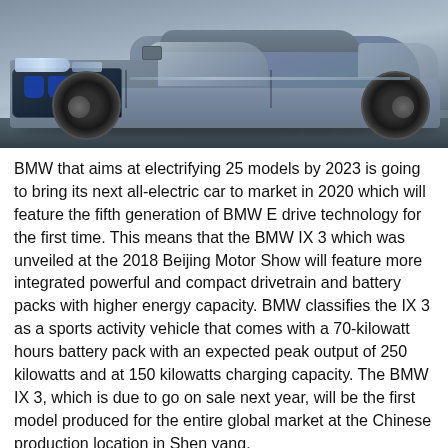[Figure (photo): A BMW iX3 electric SUV concept car photographed from a front three-quarter angle on a grey/blue background. The vehicle is silver-grey in color with distinctive BMW kidney grilles highlighted in blue, angular LED headlights, large alloy wheels, and a sleek SUV silhouette.]
BMW that aims at electrifying 25 models by 2023 is going to bring its next all-electric car to market in 2020 which will feature the fifth generation of BMW E drive technology for the first time. This means that the BMW IX 3 which was unveiled at the 2018 Beijing Motor Show will feature more integrated powerful and compact drivetrain and battery packs with higher energy capacity. BMW classifies the IX 3 as a sports activity vehicle that comes with a 70-kilowatt hours battery pack with an expected peak output of 250 kilowatts and at 150 kilowatts charging capacity. The BMW IX 3, which is due to go on sale next year, will be the first model produced for the entire global market at the Chinese production location in Shen yang.